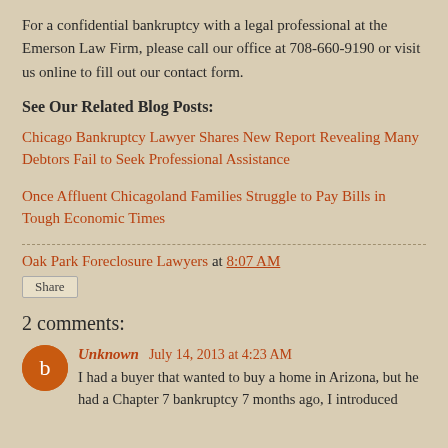For a confidential bankruptcy with a legal professional at the Emerson Law Firm, please call our office at 708-660-9190 or visit us online to fill out our contact form.
See Our Related Blog Posts:
Chicago Bankruptcy Lawyer Shares New Report Revealing Many Debtors Fail to Seek Professional Assistance
Once Affluent Chicagoland Families Struggle to Pay Bills in Tough Economic Times
Oak Park Foreclosure Lawyers at 8:07 AM
Share
2 comments:
Unknown July 14, 2013 at 4:23 AM
I had a buyer that wanted to buy a home in Arizona, but he had a Chapter 7 bankruptcy 7 months ago, I introduced